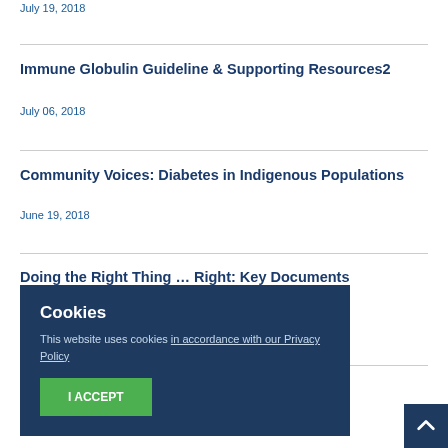July 19, 2018
Immune Globulin Guideline & Supporting Resources2
July 06, 2018
Community Voices: Diabetes in Indigenous Populations
June 19, 2018
Doing the Right Thing … Right: Key Documents
February 22, 2018
Doing the Right Thing … Right: Presentations
February 22, 2018
Cookies
This website uses cookies in accordance with our Privacy Policy
I ACCEPT